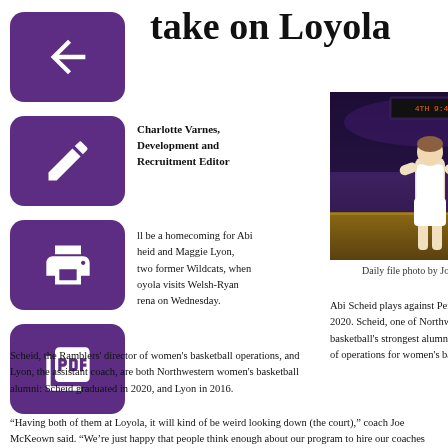take on Loyola
Charlotte Varnes, Development and Recruitment Editor
ll be a homecoming for Abi heid and Maggie Lyon, two former Wildcats, when oyola visits Welsh-Ryan rena on Wednesday.
[Figure (photo): Basketball player Abi Scheid playing against Penn State in January 2020, in a purple arena setting.]
Daily file photo by Joshua Hoffman
Abi Scheid plays against Penn State in January 2020. Scheid, one of Northwestern women's basketball's strongest alumni, is now the director of operations for women's basketball at Loyola.
Scheid, the Ramblers' director of women's basketball operations, and Lyon, the assistant coach, are both Northwestern women's basketball alumni: Scheid graduated in 2020, and Lyon in 2016.
“Having both of them at Loyola, it will kind of be weird looking down (the court),” coach Joe McKeown said. “We’re just happy that people think enough about our program to hire our coaches and players.”